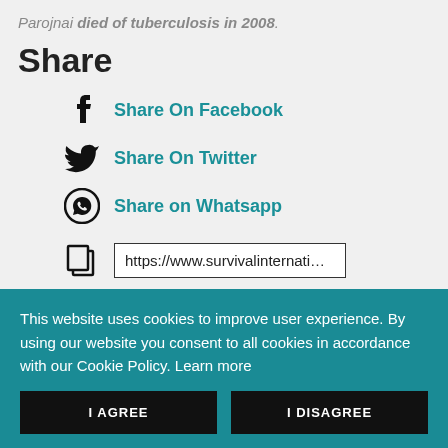Parojnai died of tuberculosis in 2008.
Share
Share On Facebook
Share On Twitter
Share on Whatsapp
https://www.survivalinternati…
Related
This website uses cookies to improve user experience. By using our website you consent to all cookies in accordance with our Cookie Policy. Learn more
I AGREE
I DISAGREE